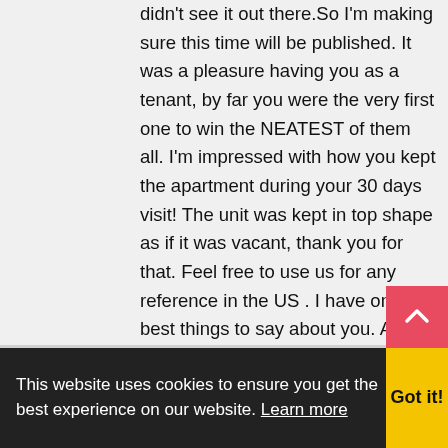didn't see it out there.So I'm making sure this time will be published. It was a pleasure having you as a tenant, by far you were the very first one to win the NEATEST of them all. I'm impressed with how you kept the apartment during your 30 days visit! The unit was kept in top shape as if it was vacant, thank you for that. Feel free to use us for any reference in the US . I have only the best things to say about you. And we would love to have you back at anytime! You found a very good friend here. Thank you again.
This website uses cookies to ensure you get the best experience on our website. Learn more